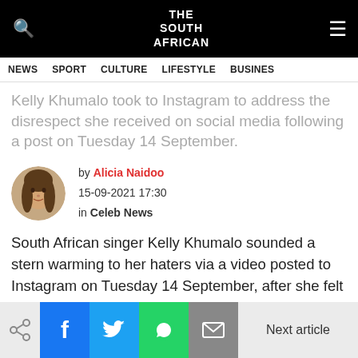THE SOUTH AFRICAN
NEWS  SPORT  CULTURE  LIFESTYLE  BUSINES
Kelly Khumalo took to Instagram to address the disrespect she received on social media following a post on Tuesday 14 September.
by Alicia Naidoo
15-09-2021 17:30
in Celeb News
South African singer Kelly Khumalo sounded a stern warming to her haters via a video posted to Instagram on Tuesday 14 September, after she felt disrespected
Next article